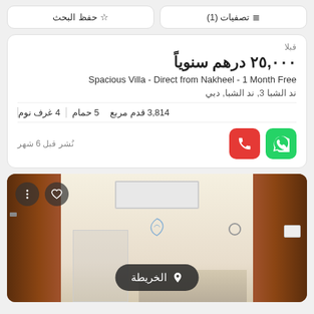تصفيات (1) | حفظ البحث
قبلا
٢٥,٠٠٠ درهم سنوياً
Spacious Villa - Direct from Nakheel - 1 Month Free
ند الشبا 3, ند الشبا, دبي
4 غرف نوم | 5 حمام | 3,814 قدم مربع
نُشر قبل 6 شهر
[Figure (photo): Bathroom interior of a villa with beige/cream tiled walls, a window, wooden door frames, and decorative logo. Overlay shows map button الخريطة and action icons.]